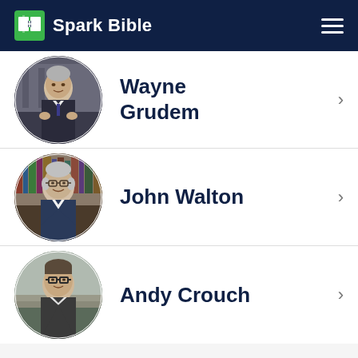Spark Bible
Wayne Grudem
John Walton
Andy Crouch